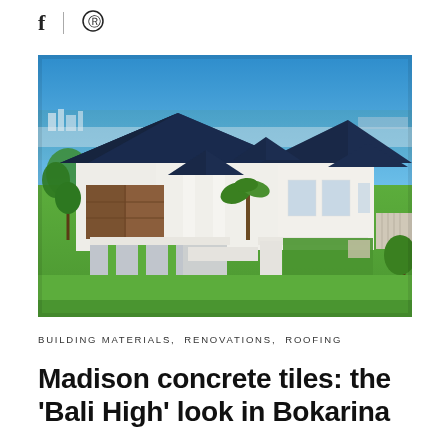[Figure (photo): Social sharing icons: Facebook (f) and Pinterest (circled P symbol) with a vertical divider between them]
[Figure (photo): Aerial/elevated front view of a modern Australian home with dark blue pyramid-style roof tiles (Madison concrete tiles), white rendered walls, a timber double garage door, a paved driveway with grass strips, manicured lawn, palm trees, and a waterway/river in the background under a bright blue sky. Located in Bokarina.]
BUILDING MATERIALS,  RENOVATIONS,  ROOFING
Madison concrete tiles: the 'Bali High' look in Bokarina